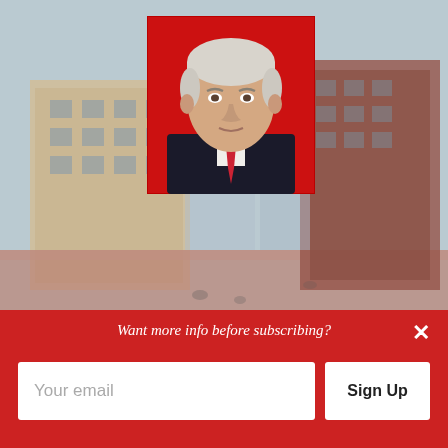[Figure (photo): Composite image: background photo of downtown Fort Worth cityscape (blurred), overlaid with a campaign headshot portrait of Phil Sorrells in a dark suit and red tie, on a red background.]
Phil Sorrells (campaign photo). Background photo of downtown Fort Worth by Fallon Michael/Unspalsh.
Want more info before subscribing?
Your email
Sign Up